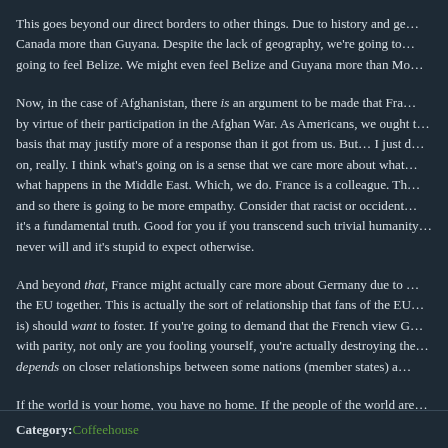This goes beyond our direct borders to other things. Due to history and ge… Canada more than Guyana. Despite the lack of geography, we're going to… going to feel Belize. We might even feel Belize and Guyana more than Mo…
Now, in the case of Afghanistan, there is an argument to be made that Fra… by virtue of their participation in the Afghan War. As Americans, we ought t… basis that may justify more of a response than it got from us. But… I just d… on, really. I think what's going on is a sense that we care more about what… what happens in the Middle East. Which, we do. France is a colleague. Th… and so there is going to be more empathy. Consider that racist or occident… it's a fundamental truth. Good for you if you transcend such trivial humanity… never will and it's stupid to expect otherwise.
And beyond that, France might actually care more about Germany due to … the EU together. This is actually the sort of relationship that fans of the EU… is) should want to foster. If you're going to demand that the French view G… with parity, not only are you fooling yourself, you're actually destroying the… depends on closer relationships between some nations (member states) a…
If the world is your home, you have no home. If the people of the world are… people. And if you claim to view all citizens of the world in similar light, you…
Category: Coffeehouse